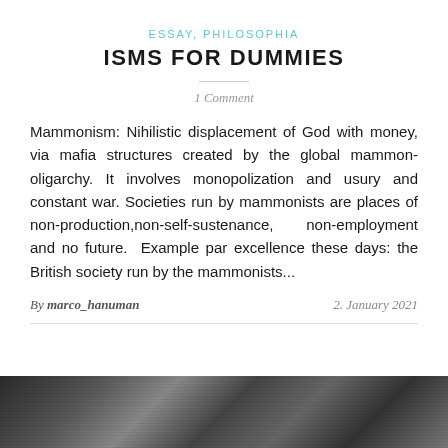ESSAY, PHILOSOPHIA
ISMS FOR DUMMIES
1 Comment
Mammonism: Nihilistic displacement of God with money, via mafia structures created by the global mammon-oligarchy. It involves monopolization and usury and constant war. Societies run by mammonists are places of non-production,non-self-sustenance, non-employment and no future.  Example par excellence these days: the British society run by the mammonists...
By marco_hanuman    2. January 2021
[Figure (photo): Black and white photograph strip at bottom of page]